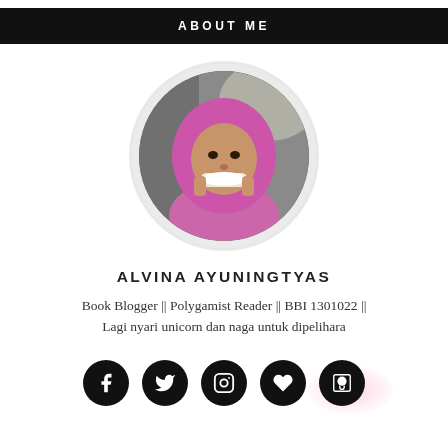ABOUT ME
[Figure (photo): Circular profile photo of Alvina Ayuningtyas wearing a pink hijab, smiling and holding something in front of her face]
ALVINA AYUNINGTYAS
Book Blogger || Polygamist Reader || BBI 1301022 || Lagi nyari unicorn dan naga untuk dipelihara
[Figure (infographic): Row of five social media icon circles: Facebook, Twitter, Instagram, Heart/Bloglovin, Goodreads]